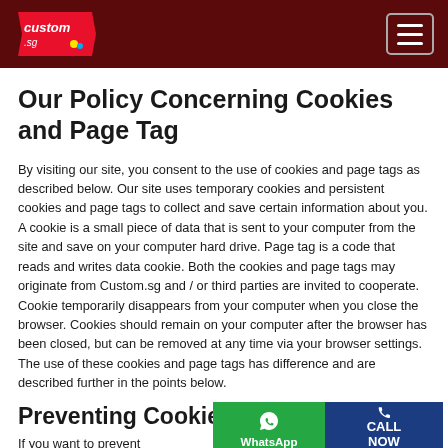custom.sg — navigation header
Our Policy Concerning Cookies and Page Tag
By visiting our site, you consent to the use of cookies and page tags as described below. Our site uses temporary cookies and persistent cookies and page tags to collect and save certain information about you. A cookie is a small piece of data that is sent to your computer from the site and save on your computer hard drive. Page tag is a code that reads and writes data cookie. Both the cookies and page tags may originate from Custom.sg and / or third parties are invited to cooperate. Cookie temporarily disappears from your computer when you close the browser. Cookies should remain on your computer after the browser has been closed, but can be removed at any time via your browser settings. The use of these cookies and page tags has difference and are described further in the points below.
Preventing Cookie
If you want to prevent … ng cookies, if you
[Figure (other): WhatsApp and Call Now CTA buttons overlay at bottom of page]